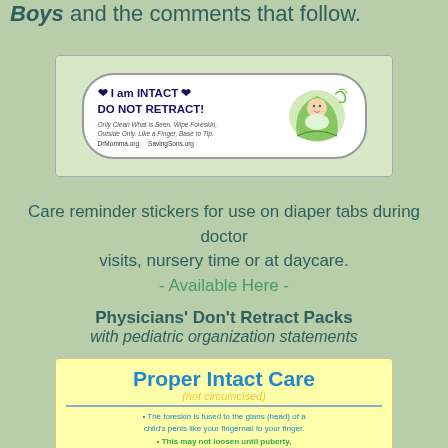Boys and the comments that follow.
[Figure (illustration): A sticker with text: ❤ I am INTACT ❤ DO NOT RETRACT! Only Clean What is Seen. Wipe Foreskin, Outside Only. Like a Finger, Base to Tip. DrMomma.org SavingSons.org — with an illustration of a baby wrapped in a leaf/pod on the right side.]
Care reminder stickers for use on diaper tabs during doctor visits, nursery time or at daycare.
- Available Here -
Physicians' Don't Retract Packs
with pediatric organization statements
[Figure (illustration): A yellow card titled 'Proper Intact Care (not circumcised)' with bullet points in teal and green text listing foreskin care instructions.]